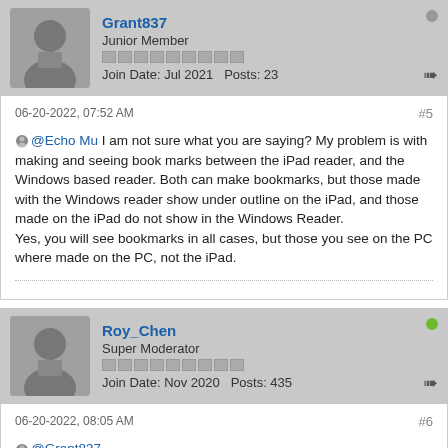Grant837 Junior Member Join Date: Jul 2021 Posts: 23
06-20-2022, 07:52 AM #5
@Echo Mu I am not sure what you are saying? My problem is with making and seeing book marks between the iPad reader, and the Windows based reader. Both can make bookmarks, but those made with the Windows reader show under outline on the iPad, and those made on the iPad do not show in the Windows Reader. Yes, you will see bookmarks in all cases, but those you see on the PC where made on the PC, not the iPad.
Roy_Chen Super Moderator Join Date: Nov 2020 Posts: 435
06-20-2022, 08:05 AM #6
@Grant837 We apologize for any difficulty using Foxit Software.